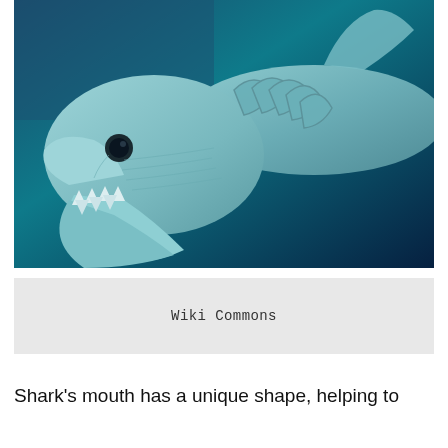[Figure (photo): Close-up photograph of a frilled shark model or specimen with open jaws, shot against a teal/blue underwater background. The shark head shows a wide-open mouth with rows of small teeth, dark eyes, and detailed skin texture with gill frills visible.]
Wiki Commons
Shark's mouth has a unique shape, helping to